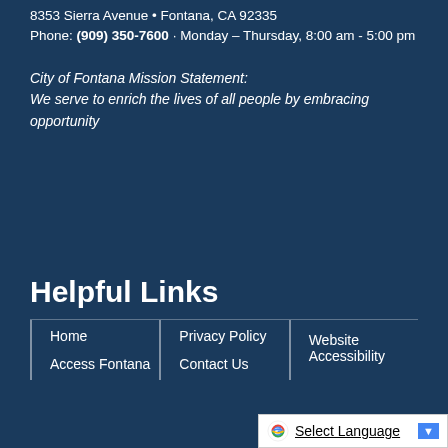8353 Sierra Avenue • Fontana, CA 92335
Phone: (909) 350-7600 · Monday – Thursday, 8:00 am - 5:00 pm
City of Fontana Mission Statement:
We serve to enrich the lives of all people by embracing opportunity
Helpful Links
Home
Privacy Policy
Website Accessibility
Access Fontana
Contact Us
Select Language